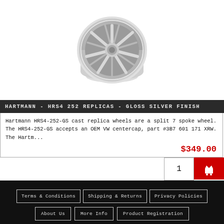[Figure (photo): A silver split 7-spoke cast replica wheel (Hartmann HRS4-252-GS), viewed from a slight angle showing the face and partial side profile. The wheel is silver/grey with a chrome-like finish.]
HARTMANN - HRS4 252 REPLICAS - GLOSS SILVER FINISH
Hartmann HRS4-252-GS cast replica wheels are a split 7 spoke wheel. The HRS4-252-GS accepts an OEM VW centercap, part #3B7 601 171 XRW. The Hartm...
$349.00